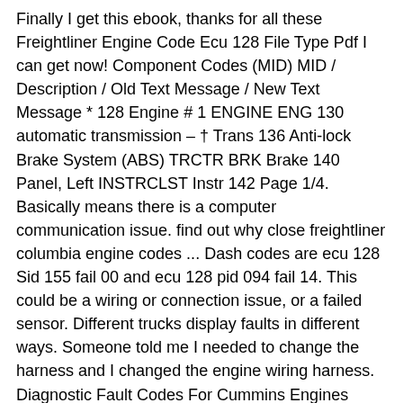Finally I get this ebook, thanks for all these Freightliner Engine Code Ecu 128 File Type Pdf I can get now! Component Codes (MID) MID / Description / Old Text Message / New Text Message * 128 Engine # 1 ENGINE ENG 130 automatic transmission – † Trans 136 Anti-lock Brake System (ABS) TRCTR BRK Brake 140 Panel, Left INSTRCLST Instr 142 Page 1/4. Basically means there is a computer communication issue. find out why close freightliner columbia engine codes ... Dash codes are ecu 128 Sid 155 fail 00 and ecu 128 pid 094 fail 14. This could be a wiring or connection issue, or a failed sensor. Different trucks display faults in different ways. Someone told me I needed to change the harness and I changed the engine wiring harness. Diagnostic Fault Codes For Cummins Engines Freightliner Fault Codes List (MID, PID, SID, FMI ... What Means The Code Ecu128 For 2005 Freightliner Columbia ... ECU 128 What Does It Mean ... Jan 17th, 2021 Engine Fault Codes Freightliner ... ECU